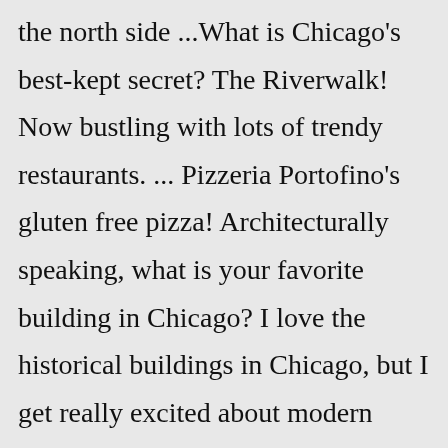the north side ...What is Chicago's best-kept secret? The Riverwalk! Now bustling with lots of trendy restaurants. ... Pizzeria Portofino's gluten free pizza! Architecturally speaking, what is your favorite building in Chicago? I love the historical buildings in Chicago, but I get really excited about modern architecture. I've loved watching the St. Regis ...Great frontage on Division Fully operational since in Sale $799,000 1-4396E-720 N...